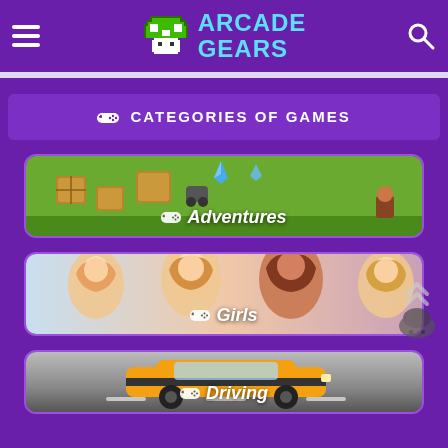ARCADE GEARS
🎮 CATEGORIES OF GAMES
[Figure (screenshot): Adventure games category card showing a top-down strategy/battle game scene with wooden crates, grass terrain, and a character, labeled 'Adventures']
[Figure (screenshot): Girls games category card showing animated cartoon-style female characters with colorful hair, labeled 'Girls']
[Figure (screenshot): Driving games category card showing an orange sports car on a road, labeled 'Driving']